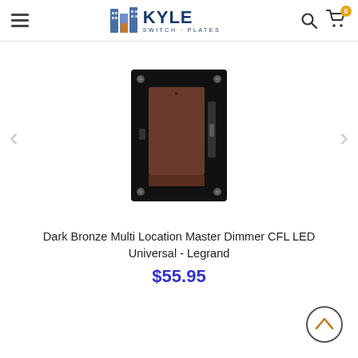Kyle Switch Plates - navigation header with logo, search, and cart icons
[Figure (photo): Dark bronze wall dimmer switch (Multi Location Master Dimmer CFL LED Universal by Legrand) mounted on a black plate, front view showing brown paddle and slider]
Dark Bronze Multi Location Master Dimmer CFL LED Universal - Legrand
$55.95